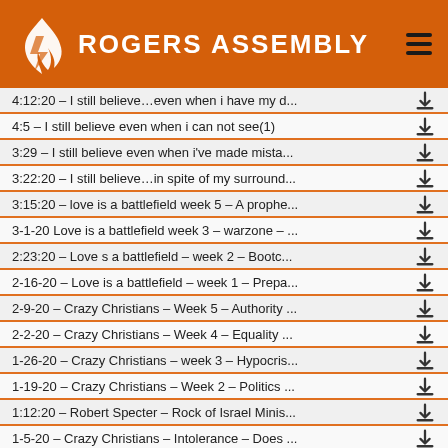ROGERS ASSEMBLY
4:12:20 – I still believe…even when i have my d...
4:5 – I still believe even when i can not see(1)
3:29 – I still believe even when i've made mista...
3:22:20 – I still believe…in spite of my surround...
3:15:20 – love is a battlefield week 5 – A prophe...
3-1-20 Love is a battlefield week 3 – warzone – ...
2:23:20 – Love s a battlefield – week 2 – Bootc...
2-16-20 – Love is a battlefield – week 1 – Prepa...
2-9-20 – Crazy Christians – Week 5 – Authority ...
2-2-20 – Crazy Christians – Week 4 – Equality ...
1-26-20 – Crazy Christians – week 3 – Hypocris...
1-19-20 – Crazy Christians – Week 2 – Politics ...
1:12:20 – Robert Specter – Rock of Israel Minis...
1-5-20 – Crazy Christians – Intolerance – Does ...